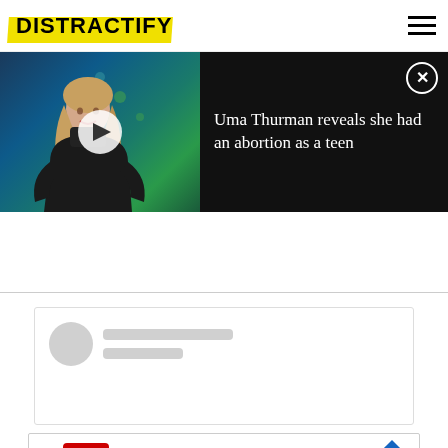DISTRACTIFY
[Figure (screenshot): Video thumbnail showing a blonde woman in a black turtleneck against a blue/green bokeh background, with a play button overlay]
Uma Thurman reveals she had an abortion as a teen
[Figure (screenshot): Social media post skeleton loading placeholder with grey avatar circle and grey line placeholders]
[Figure (other): CVS Pharmacy advertisement: CVS Epic Beauty Event - CVS Pharmacy, with CVS logo and navigation arrow icon]